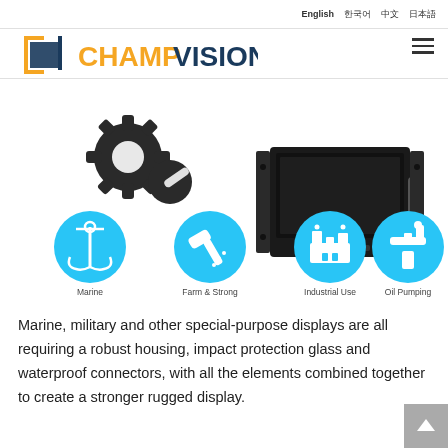English  한국어  中文  日本語
[Figure (logo): ChampVision logo with orange geometric bracket icon and blue/orange brand name text]
[Figure (infographic): Product image of rugged rack-mount display monitor with gear/tools icon overlay, and four application icons below: Marine (anchor), Farm & Strong (axe/sparks), Industrial Use (factory), Oil Pumping (pump jack), each in cyan circles with labels]
Marine, military and other special-purpose displays are all requiring a robust housing, impact protection glass and waterproof connectors, with all the elements combined together to create a stronger rugged display.